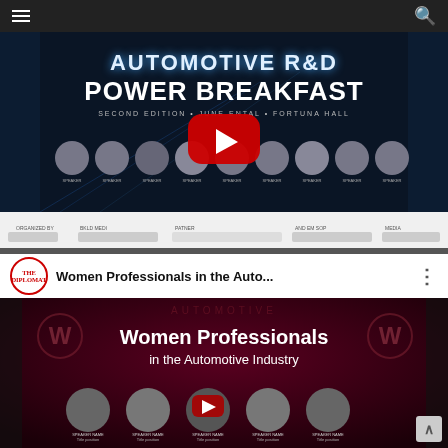Navigation bar with hamburger menu and search icon
[Figure (screenshot): YouTube video thumbnail for Automotive R&D Power Breakfast, Second Edition, showing speakers and sponsor logos with a YouTube play button overlay]
[Figure (screenshot): YouTube video thumbnail for 'Women Professionals in the Auto...' by The Diplomat channel, showing Women Professionals in the Automotive Industry event with speakers]